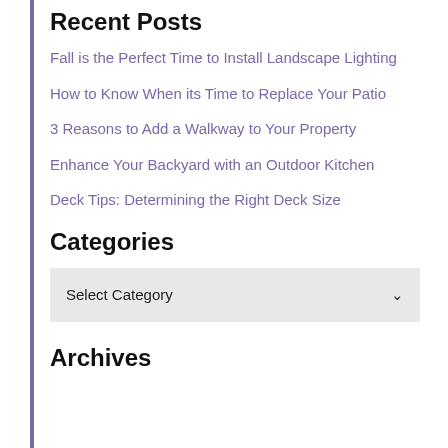Recent Posts
Fall is the Perfect Time to Install Landscape Lighting
How to Know When its Time to Replace Your Patio
3 Reasons to Add a Walkway to Your Property
Enhance Your Backyard with an Outdoor Kitchen
Deck Tips: Determining the Right Deck Size
Categories
Select Category
Archives